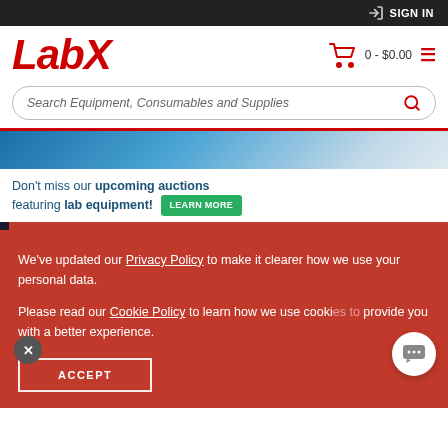SIGN IN
LabX
0 - $0.00
Search Equipment, Consumables and Supplies
[Figure (photo): Partial image of lab equipment in blue tones]
Don't miss our upcoming auctions featuring lab equipment! LEARN MORE
[Figure (photo): Cambridge banner in red with dark left bar]
We’ve updated our Privacy Policy to make it clearer how we use your personal data.

Please read our Cookie Policy to learn how we use cookies to provide you with a better experience.
ACCEPT